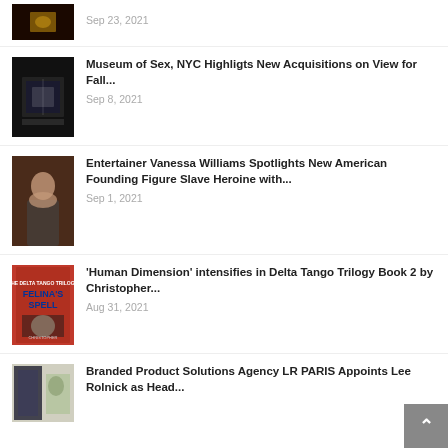[Figure (photo): Dark thumbnail image, partial view at top]
Sep 23, 2021
[Figure (photo): Museum exhibit with illuminated glass case]
Museum of Sex, NYC Highligts New Acquisitions on View for Fall...
Sep 8, 2021
[Figure (photo): Woman posing, Vanessa Williams related article]
Entertainer Vanessa Williams Spotlights New American Founding Figure Slave Heroine with...
Sep 1, 2021
[Figure (photo): Book cover: Felina's Spell, Delta Tango Trilogy]
'Human Dimension' intensifies in Delta Tango Trilogy Book 2 by Christopher...
Aug 31, 2021
[Figure (photo): Partial thumbnail image at bottom]
Branded Product Solutions Agency LR PARIS Appoints Lee Rolnick as Head...